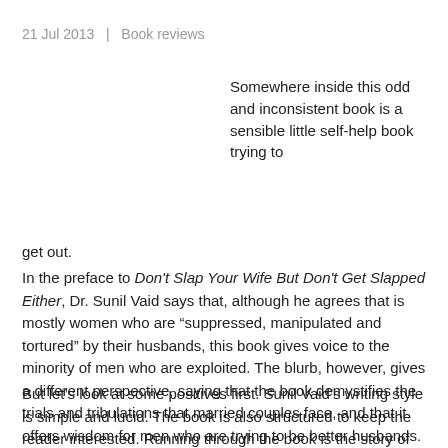21 Jul 2013  |  Book reviews
Somewhere inside this odd and inconsistent book is a sensible little self-help book trying to get out.
In the preface to Don't Slap Your Wife But Don't Get Slapped Either, Dr. Sunil Vaid says that, although he agrees that is mostly women who are “suppressed, manipulated and tortured” by their husbands, this book gives voice to the minority of men who are exploited. The blurb, however, gives a different perspective, saying that the book demystifies the trials and tribulations that married couples face, and that it offers wisdom for men who are trying to be better husbands. In trying to achieve these two aims, the author ends up revealing his prejudices and ends up doing a great disservice to the field of self-help.
But let’s look at some positives first. Sunil Vaid’s writing style is simple and lucid. The book is also structured to keep the reader interested. Running through the book is the story of three women who meet regularly and exchange notes on their new marriages. There are also three men who